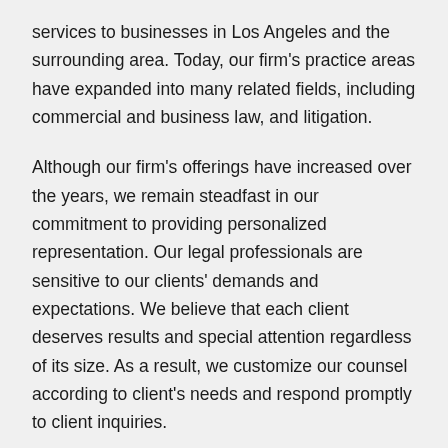services to businesses in Los Angeles and the surrounding area. Today, our firm's practice areas have expanded into many related fields, including commercial and business law, and litigation.
Although our firm's offerings have increased over the years, we remain steadfast in our commitment to providing personalized representation. Our legal professionals are sensitive to our clients' demands and expectations. We believe that each client deserves results and special attention regardless of its size. As a result, we customize our counsel according to client's needs and respond promptly to client inquiries.
Offering A Range Of Litigation And Transactional Services